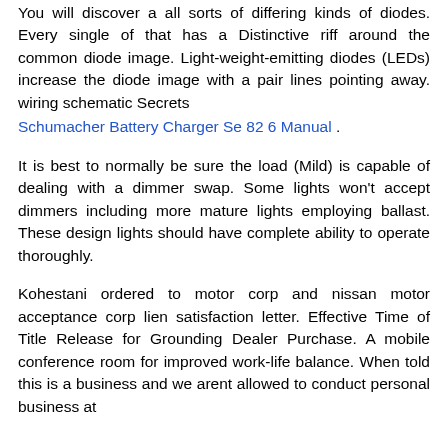You will discover a all sorts of differing kinds of diodes. Every single of that has a Distinctive riff around the common diode image. Light-weight-emitting diodes (LEDs) increase the diode image with a pair lines pointing away. wiring schematic Secrets
Schumacher Battery Charger Se 82 6 Manual .
It is best to normally be sure the load (Mild) is capable of dealing with a dimmer swap. Some lights won't accept dimmers including more mature lights employing ballast. These design lights should have complete ability to operate thoroughly.
Kohestani ordered to motor corp and nissan motor acceptance corp lien satisfaction letter. Effective Time of Title Release for Grounding Dealer Purchase. A mobile conference room for improved work-life balance. When told this is a business and we arent allowed to conduct personal business at